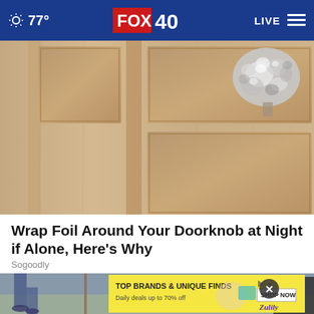77° FOX 40 LIVE
[Figure (photo): Close-up photo of a wooden door with a crumpled aluminum foil ball wrapped around the doorknob]
Wrap Foil Around Your Doorknob at Night if Alone, Here's Why
Sogoodly
[Figure (photo): Partial photo of outdoor scene with person's legs visible, with advertisement overlay: TOP BRANDS & UNIQUE FINDS - Daily deals up to 70% off - Zulily - SHOP NOW]